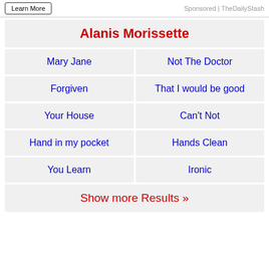Learn More | Sponsored | TheDailyStash
Alanis Morissette
Mary Jane
Not The Doctor
Forgiven
That I would be good
Your House
Can't Not
Hand in my pocket
Hands Clean
You Learn
Ironic
Show more Results »